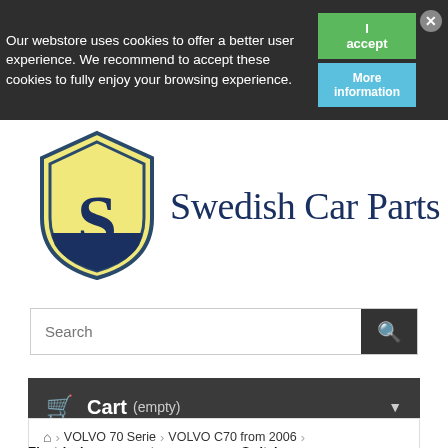Our webstore uses cookies to offer a better user experience. We recommend to accept these cookies to fully enjoy your browsing experience.
[Figure (logo): Swedish Car Parts shield logo with yellow background and dark blue S letter, alongside text 'Swedish Car Parts']
Search
Cart (empty)
VOLVO 70 Serie > VOLVO C70 from 2006
Electrical components  Switches